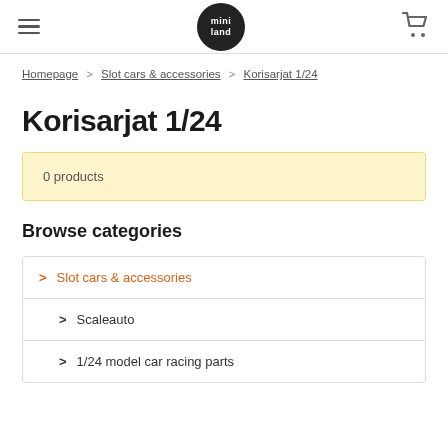mini land — navigation header with hamburger menu and cart icon
Homepage > Slot cars & accessories > Korisarjat 1/24
Korisarjat 1/24
0 products
Browse categories
> Slot cars & accessories
> Scaleauto
> 1/24 model car racing parts